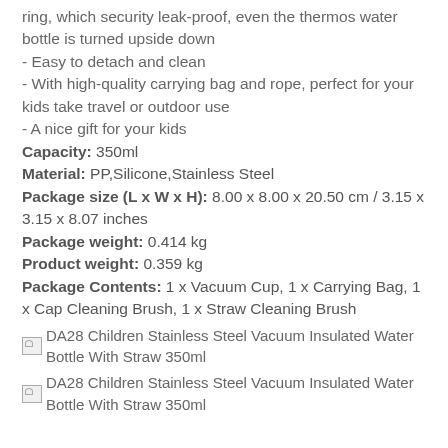ring, which security leak-proof, even the thermos water bottle is turned upside down
- Easy to detach and clean
- With high-quality carrying bag and rope, perfect for your kids take travel or outdoor use
- A nice gift for your kids
Capacity: 350ml
Material: PP,Silicone,Stainless Steel
Package size (L x W x H): 8.00 x 8.00 x 20.50 cm / 3.15 x 3.15 x 8.07 inches
Package weight: 0.414 kg
Product weight: 0.359 kg
Package Contents: 1 x Vacuum Cup, 1 x Carrying Bag, 1 x Cap Cleaning Brush, 1 x Straw Cleaning Brush
[Figure (photo): DA28 Children Stainless Steel Vacuum Insulated Water Bottle With Straw 350ml thumbnail image]
[Figure (photo): DA28 Children Stainless Steel Vacuum Insulated Water Bottle With Straw 350ml thumbnail image 2]